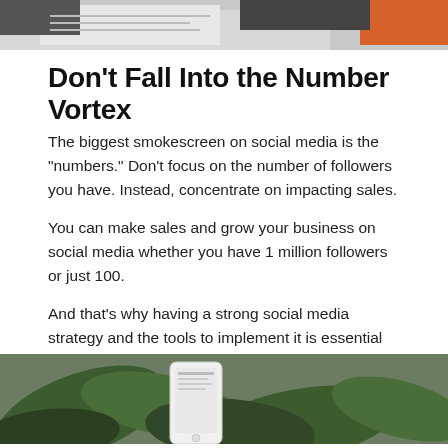[Figure (photo): Partial photo of office/desk items at top of page, including what appears to be a phone and orange object]
Don't Fall Into the Number Vortex
The biggest smokescreen on social media is the "numbers." Don't focus on the number of followers you have. Instead, concentrate on impacting sales.
You can make sales and grow your business on social media whether you have 1 million followers or just 100.
And that's why having a strong social media strategy and the tools to implement it is essential for your business.
[Figure (photo): Photo at bottom of page showing a smartphone near green plant leaves]